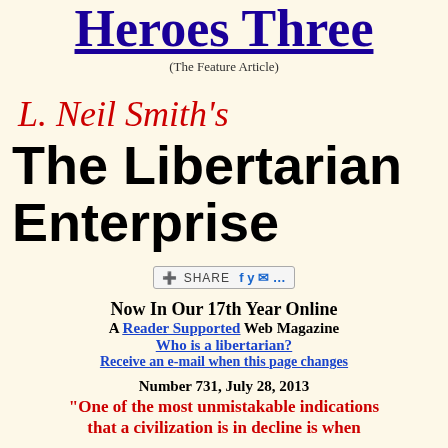Heroes Three
(The Feature Article)
L. Neil Smith's
The Libertarian Enterprise
[Figure (other): Share bar with social media icons: red plus, SHARE text, Facebook, Twitter, email icons]
Now In Our 17th Year Online
A Reader Supported Web Magazine
Who is a libertarian?
Receive an e-mail when this page changes
Number 731, July 28, 2013
"One of the most unmistakable indications that a civilization is in decline is when